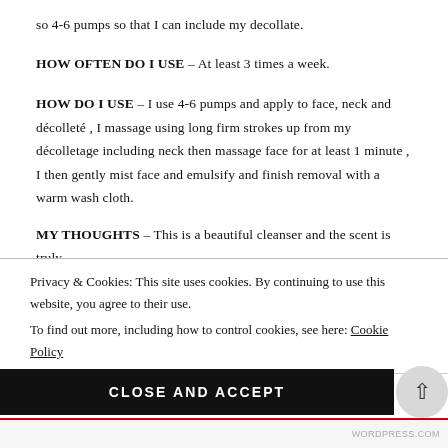so 4-6 pumps so that I can include my decollate.
HOW OFTEN DO I USE – At least 3 times a week.
HOW DO I USE – I use 4-6 pumps and apply to face, neck and décolleté , I massage using long firm strokes up from my décolletage including neck then massage face for at least 1 minute , I then gently mist face and emulsify and finish removal with a warm wash cloth.
MY THOUGHTS – This is a beautiful cleanser and the scent is truly uplifting and I look forward to using this. Although its able to remove...
Privacy & Cookies: This site uses cookies. By continuing to use this website, you agree to their use. To find out more, including how to control cookies, see here: Cookie Policy
CLOSE AND ACCEPT